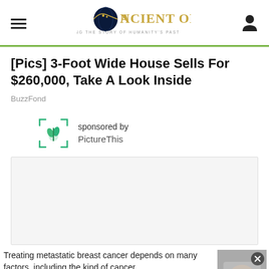Ancient Origins — Reconstructing the story of humanity's past
[Pics] 3-Foot Wide House Sells For $260,000, Take A Look Inside
BuzzFond
[Figure (infographic): Sponsored by PictureThis advertisement with plant logo]
[Figure (other): Empty ad box with light grey background and border]
Treating metastatic breast cancer depends on many factors, including the kind of cancer… WebMD
[Figure (other): Small thumbnail image with X close button overlay]
[Figure (other): Bottom ad strip with light grey background]